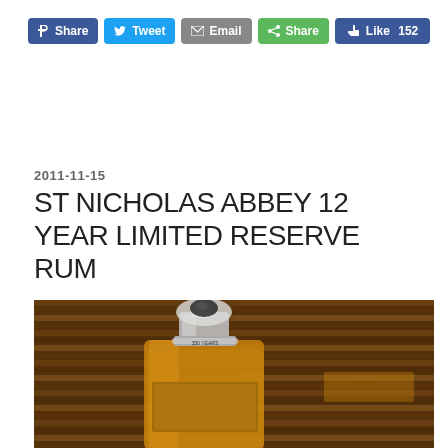[Figure (other): Social media sharing buttons: Facebook Share, Twitter Tweet, Email, Share (green), and a Facebook Like button showing 152 likes]
2011-11-15
ST NICHOLAS ABBEY 12 YEAR LIMITED RESERVE RUM
[Figure (photo): Close-up photograph of a rum bottle (St Nicholas Abbey 12 Year Limited Reserve Rum) with a glass stopper/cap, showing golden/amber liquid inside, set against a bamboo/wicker background. The bottle neck shows text '350 YEARS'.]